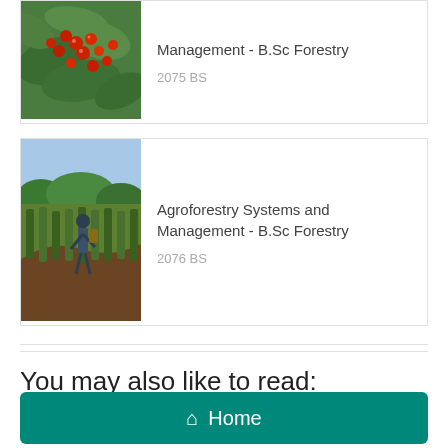[Figure (photo): Photo of red berries on a plant with green leaves]
Management - B.Sc Forestry
2075 BS
[Figure (photo): Photo of a person working in an agroforestry field with crops and trees]
Agroforestry Systems and Management - B.Sc Forestry
2076 BS
You may also like to read:
Home